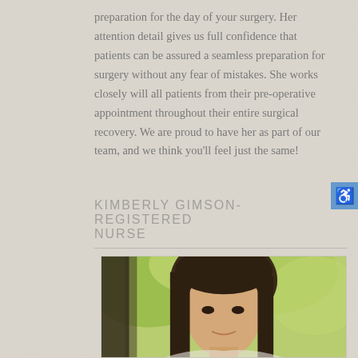preparation for the day of your surgery. Her attention detail gives us full confidence that patients can be assured a seamless preparation for surgery without any fear of mistakes. She works closely will all patients from their pre-operative appointment throughout their entire surgical recovery. We are proud to have her as part of our team, and we think you'll feel just the same!
KIMBERLY GIMSON- REGISTERED NURSE
[Figure (photo): Professional headshot photo of Kimberly Gimson, a woman with long brown hair, photographed against a blurred green outdoor background.]